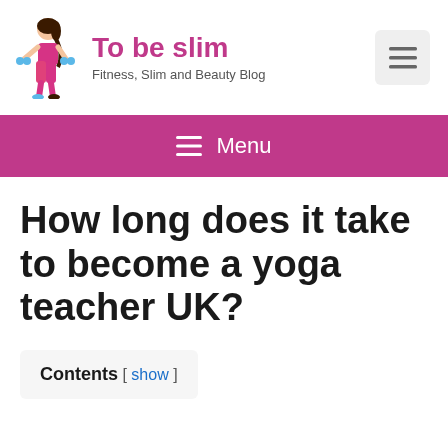[Figure (logo): Cartoon illustration of a slim woman in pink workout clothes holding blue dumbbells]
To be slim
Fitness, Slim and Beauty Blog
[Figure (other): Hamburger menu icon in a light gray rounded square]
≡ Menu
How long does it take to become a yoga teacher UK?
Contents [ show ]